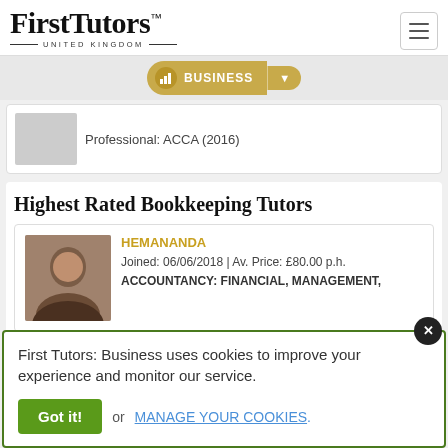[Figure (logo): First Tutors United Kingdom logo with hamburger menu icon]
BUSINESS
Professional: ACCA (2016)
Highest Rated Bookkeeping Tutors
HEMANANDA
Joined: 06/06/2018 | Av. Price: £80.00 p.h.
ACCOUNTANCY: FINANCIAL, MANAGEMENT,
First Tutors: Business uses cookies to improve your experience and monitor our service.
Got it! or MANAGE YOUR COOKIES.